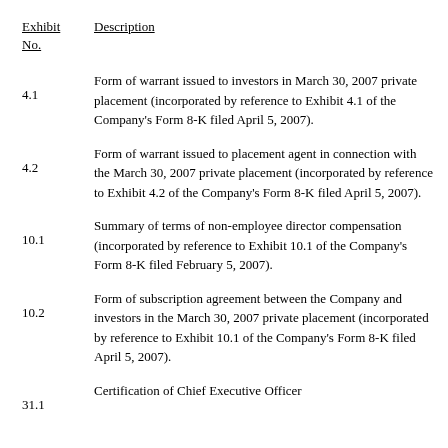| Exhibit No. | Description |
| --- | --- |
| 4.1 | Form of warrant issued to investors in March 30, 2007 private placement (incorporated by reference to Exhibit 4.1 of the Company's Form 8-K filed April 5, 2007). |
| 4.2 | Form of warrant issued to placement agent in connection with the March 30, 2007 private placement (incorporated by reference to Exhibit 4.2 of the Company's Form 8-K filed April 5, 2007). |
| 10.1 | Summary of terms of non-employee director compensation (incorporated by reference to Exhibit 10.1 of the Company's Form 8-K filed February 5, 2007). |
| 10.2 | Form of subscription agreement between the Company and investors in the March 30, 2007 private placement (incorporated by reference to Exhibit 10.1 of the Company's Form 8-K filed April 5, 2007). |
| 31.1 | Certification of Chief Executive Officer |